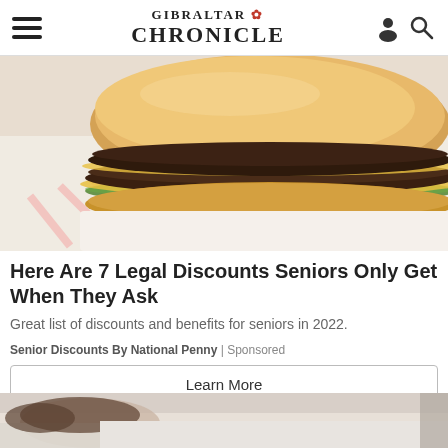GIBRALTAR CHRONICLE
[Figure (photo): Close-up photo of a double cheeseburger with two beef patties, melted cheese, and pickles on a sesame-free bun, resting on white and red patterned fast-food wrapper paper.]
Here Are 7 Legal Discounts Seniors Only Get When They Ask
Great list of discounts and benefits for seniors in 2022.
Senior Discounts By National Penny | Sponsored
Learn More
[Figure (photo): Partial view of a person lying in bed, visible from bottom of frame.]